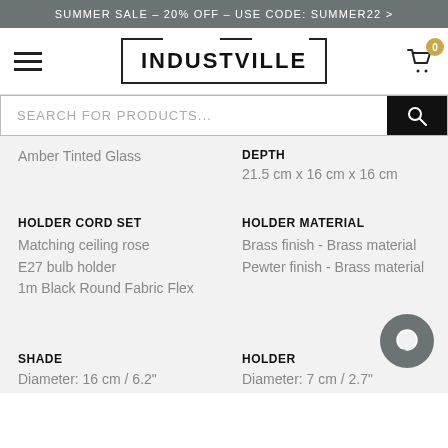SUMMER SALE – 20% OFF – USE CODE: SUMMER22 >
[Figure (screenshot): Industville logo in a rectangular border with hamburger menu and shopping cart icon]
SEARCH FOR PRODUCTS...
DEPTH
21.5 cm x 16 cm x 16 cm
Amber Tinted Glass
HOLDER CORD SET
Matching ceiling rose
E27 bulb holder
1m Black Round Fabric Flex
HOLDER MATERIAL
Brass finish - Brass material
Pewter finish - Brass material
SHADE
Diameter: 16 cm / 6.2"
HOLDER
Diameter: 7 cm / 2.7"